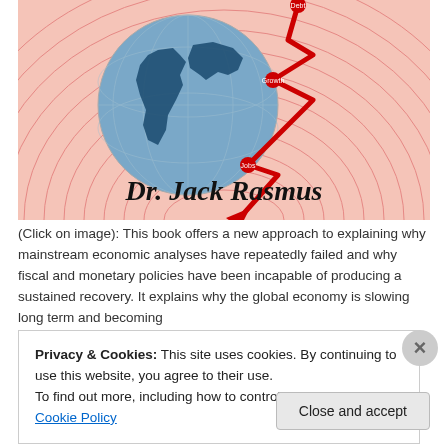[Figure (illustration): Book cover showing globe with red downward arrows labeled Debt, Growth, Jobs, and the author name 'Dr. Jack Rasmus' in bold black italic text on a pinkish-red striped background.]
(Click on image): This book offers a new approach to explaining why mainstream economic analyses have repeatedly failed and why fiscal and monetary policies have been incapable of producing a sustained recovery. It explains why the global economy is slowing long term and becoming
Privacy & Cookies: This site uses cookies. By continuing to use this website, you agree to their use.
To find out more, including how to control cookies, see here: Cookie Policy
Close and accept